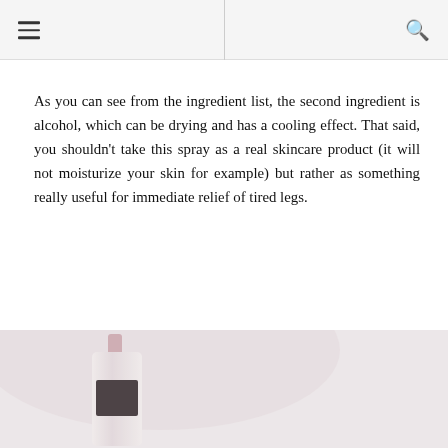≡  🔍
As you can see from the ingredient list, the second ingredient is alcohol, which can be drying and has a cooling effect. That said, you shouldn't take this spray as a real skincare product (it will not moisturize your skin for example) but rather as something really useful for immediate relief of tired legs.
[Figure (photo): Partial photograph showing a cosmetic spray bottle with a dark label and pink/rose cap, against a light blurred background.]